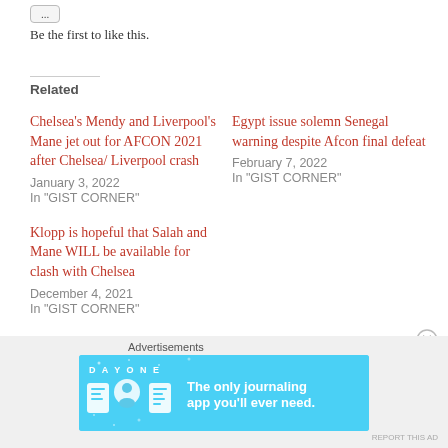Be the first to like this.
Related
Chelsea's Mendy and Liverpool's Mane jet out for AFCON 2021 after Chelsea/Liverpool crash
January 3, 2022
In "GIST CORNER"
Egypt issue solemn Senegal warning despite Afcon final defeat
February 7, 2022
In "GIST CORNER"
Klopp is hopeful that Salah and Mane WILL be available for clash with Chelsea
December 4, 2021
In "GIST CORNER"
Advertisements
[Figure (other): Day One journaling app advertisement banner with blue background and icons, text: The only journaling app you'll ever need.]